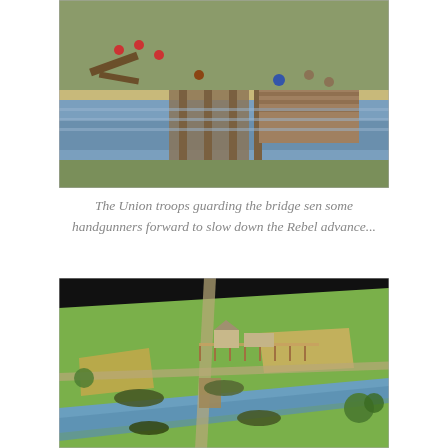[Figure (photo): Close-up photograph of a miniature wargame scene showing Union troops guarding a wooden bridge over a blue river, with painted miniature soldiers including figures in red coats and a figure in a blue hat, with wooden bridge structures and green terrain.]
The Union troops guarding the bridge sen some handgunners forward to slow down the Rebel advance...
[Figure (photo): Aerial overview photograph of a miniature wargame battlefield showing a green landscape with fields, fences, buildings, a blue river crossing, and multiple groups of miniature soldiers deployed across the terrain.]